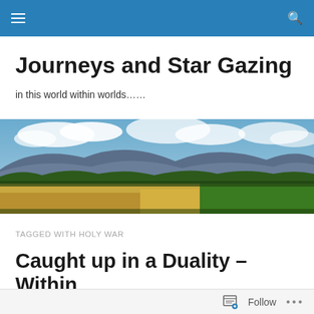Navigation bar with menu and search icons
Journeys and Star Gazing
in this world within worlds……
[Figure (photo): Panoramic landscape photo showing green and golden fields under a blue cloudy sky with mountains in the background]
TAGGED WITH HOLY WAR
Caught up in a Duality – Within or Without Me?
Follow ...